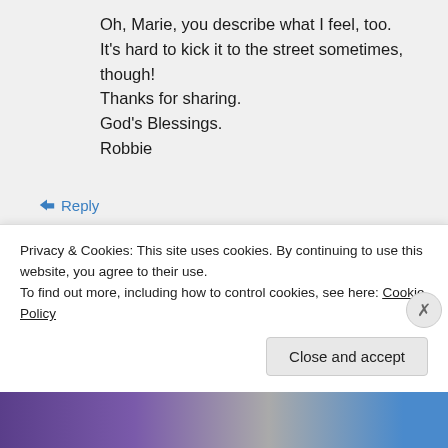Oh, Marie, you describe what I feel, too. It's hard to kick it to the street sometimes, though! Thanks for sharing. God's Blessings. Robbie
↪ Reply
mariewilliams53 on February 1, 2017 at 5:08 am
Privacy & Cookies: This site uses cookies. By continuing to use this website, you agree to their use. To find out more, including how to control cookies, see here: Cookie Policy